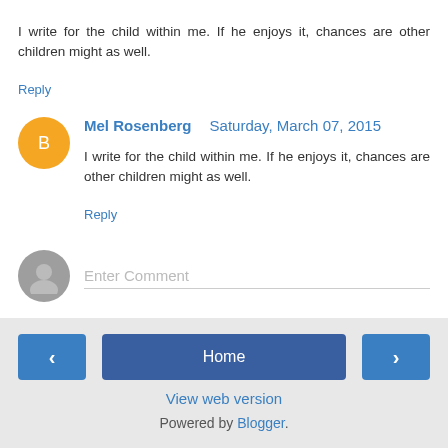I write for the child within me. If he enjoys it, chances are other children might as well.
Reply
Mel Rosenberg   Saturday, March 07, 2015
I write for the child within me. If he enjoys it, chances are other children might as well.
Reply
Enter Comment
Home
View web version
Powered by Blogger.